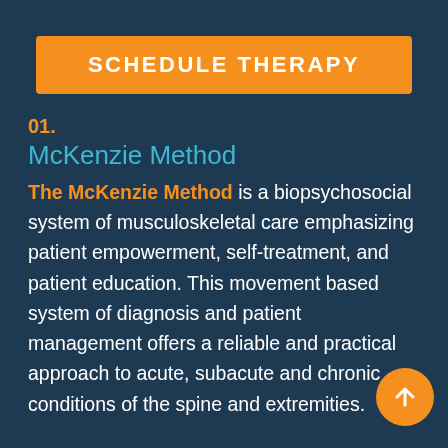SCHEDULE THERAPY
01.
McKenzie Method
The McKenzie Method is a biopsychosocial system of musculoskeletal care emphasizing patient empowerment, self-treatment, and patient education. This movement based system of diagnosis and patient management offers a reliable and practical approach to acute, subacute and chronic conditions of the spine and extremities.